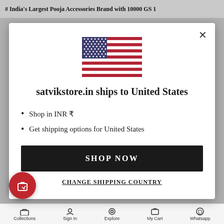# India's Largest Pooja Accessories Brand with 10000 GS 1
[Figure (screenshot): US flag inline SVG in modal dialog]
satvikstore.in ships to United States
Shop in INR ₹
Get shipping options for United States
SHOP NOW
CHANGE SHIPPING COUNTRY
Collections   Sign In   Explore   My Cart   Whatsapp